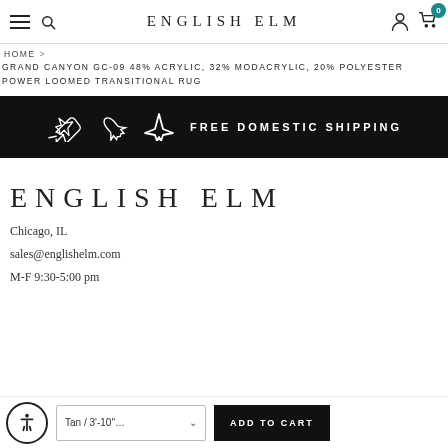ENGLISH ELM
HOME > GRAND CANYON GC-09 48% ACRYLIC, 32% MODACRYLIC, 20% POLYESTER POWER LOOMED TRANSITIONAL RUG
[Figure (infographic): Black banner with airplane icon and text: FREE DOMESTIC SHIPPING]
ENGLISH ELM
Chicago, IL
sales@englishelm.com
M-F 9:30-5:00 pm
Tan / 3'-10"... ADD TO CART